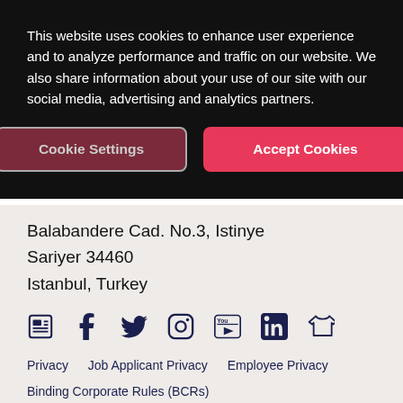This website uses cookies to enhance user experience and to analyze performance and traffic on our website. We also share information about your use of our site with our social media, advertising and analytics partners.
Cookie Settings
Accept Cookies
Balabandere Cad. No.3, Istinye
Sariyer 34460
Istanbul, Turkey
[Figure (other): Social media icons: newspaper/blog, Facebook, Twitter, Instagram, YouTube, LinkedIn, merchandise/shop]
Privacy
Job Applicant Privacy
Employee Privacy
Binding Corporate Rules (BCRs)
Cookie List and Settings
Terms of Use
Cyber Security
Supplier Code of Conduct
Anti-Human Trafficking